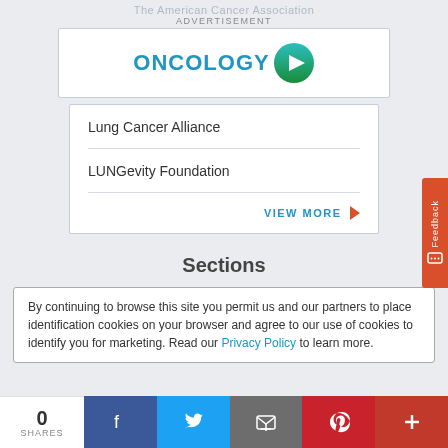The American Cancer Association
ADVERTISEMENT
[Figure (logo): OncologyGo logo with teal play-button icon]
Lung Cancer Alliance
LUNGevity Foundation
VIEW MORE
Sections
By continuing to browse this site you permit us and our partners to place identification cookies on your browser and agree to our use of cookies to identify you for marketing. Read our Privacy Policy to learn more.
0
SHARES